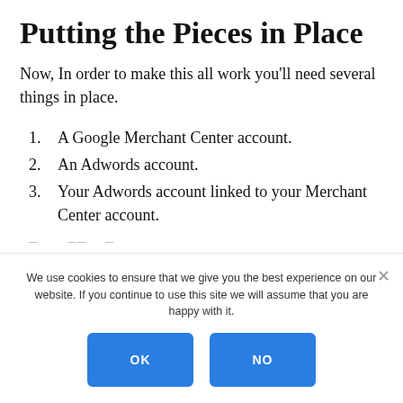Putting the Pieces in Place
Now, In order to make this all work you'll need several things in place.
1. A Google Merchant Center account.
2. An Adwords account.
3. Your Adwords account linked to your Merchant Center account.
We use cookies to ensure that we give you the best experience on our website. If you continue to use this site we will assume that you are happy with it.